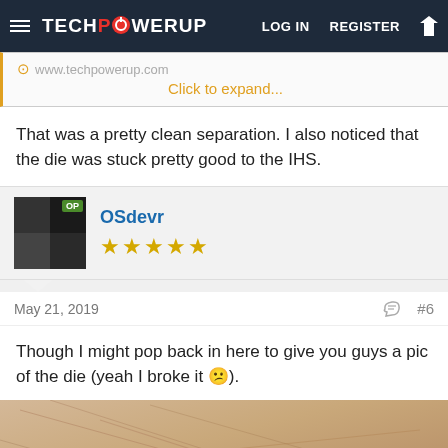TechPowerUp — LOG IN  REGISTER
[Figure (screenshot): Collapsed image block showing www.techpowerup.com URL with Click to expand... link in orange]
That was a pretty clean separation. I also noticed that the die was stuck pretty good to the IHS.
OSdevr — 5 stars — OP badge — May 21, 2019 — #6
Though I might pop back in here to give you guys a pic of the die (yeah I broke it 😕).
[Figure (photo): Partial photo of a CPU die or similar hardware component on a beige/cream surface]